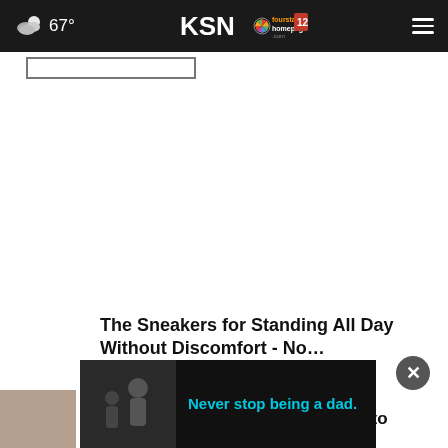67° KSN fourstates homepage.com 12
[Figure (screenshot): KSN News website header with weather showing 67°, KSN/fourstates homepage logo, and hamburger menu icon on dark background]
The Sneakers for Standing All Day Without Discomfort - No…
Ad by Sursell
MORE
[Figure (photo): Black and white photo of adult and child, with overlay text 'Never stop being a dad.' in cyan on dark background]
Joplin's West 32nd Street reopens to